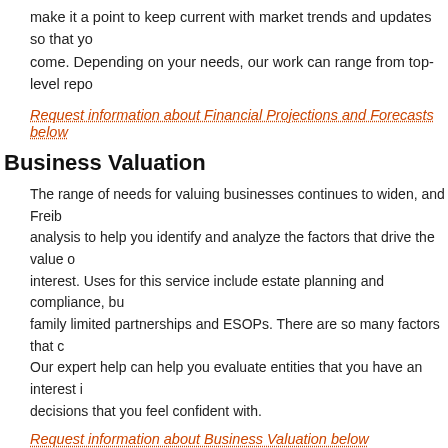make it a point to keep current with market trends and updates so that you get the best outcome to come. Depending on your needs, our work can range from top-level repo...
Request information about Financial Projections and Forecasts below
Business Valuation
The range of needs for valuing businesses continues to widen, and Freibert... analysis to help you identify and analyze the factors that drive the value of your interest. Uses for this service include estate planning and compliance, bu... family limited partnerships and ESOPs. There are so many factors that c... Our expert help can help you evaluate entities that you have an interest in... decisions that you feel confident with.
Request information about Business Valuation below
Debt and Finance Advising
Back to top
Whether your needs are corporate or personal, Freibert CPA Group PLL... the different options available for debt management and financing that w... amount of interest paid. Re-balancing your debts can also result in tax de... the payments and the amounts of your current debts, our expertise may... payments.